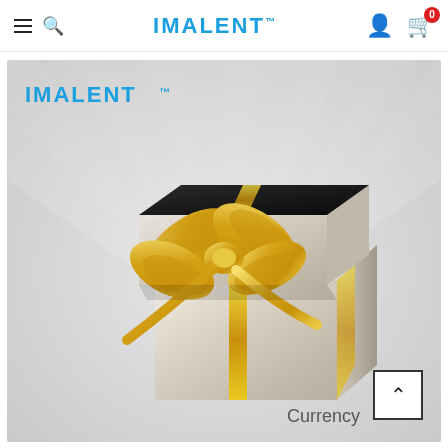IMALENT™ — Navigation bar with hamburger menu, search, logo, user icon, cart (0)
[Figure (photo): IMALENT branded promotional image showing an open silver and gold gift box with a golden ribbon and bow, on a light radial sunburst background. 'Currency' text in lower right. IMALENT logo in upper left of image.]